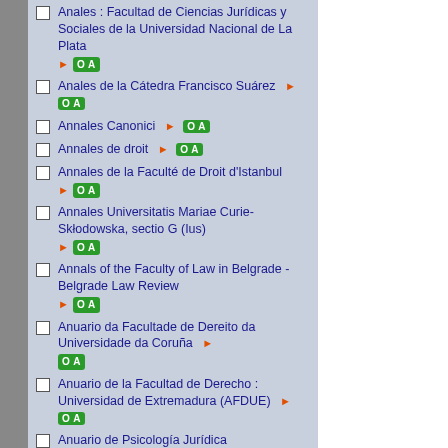Anales : Facultad de Ciencias Jurídicas y Sociales de la Universidad Nacional de La Plata ► OA
Anales de la Cátedra Francisco Suárez ► OA
Annales Canonici ► OA
Annales de droit ► OA
Annales de la Faculté de Droit d'Istanbul ► OA
Annales Universitatis Mariae Curie-Skłodowska, sectio G (Ius) ► OA
Annals of the Faculty of Law in Belgrade - Belgrade Law Review ► OA
Anuario da Facultade de Dereito da Universidade da Coruña ► OA
Anuario de la Facultad de Derecho : Universidad de Extremadura (AFDUE) ► OA
Anuario de Psicología Jurídica